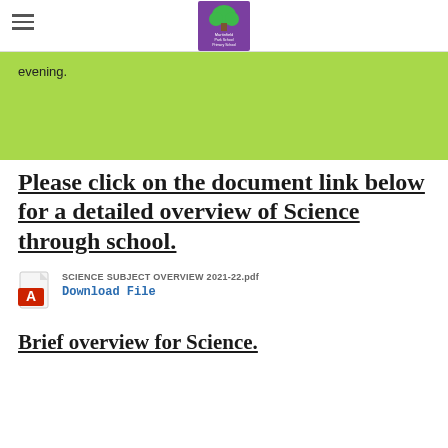[School logo — Martinfield Park School Primary School]
evening.
Please click on the document link below for a detailed overview of Science through school.
SCIENCE SUBJECT OVERVIEW 2021-22.pdf
Download File
Brief overview for Science.